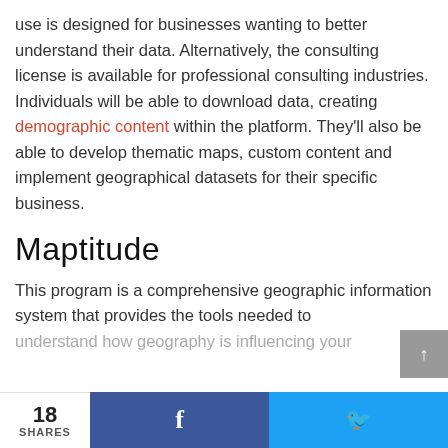use is designed for businesses wanting to better understand their data. Alternatively, the consulting license is available for professional consulting industries. Individuals will be able to download data, creating demographic content within the platform. They'll also be able to develop thematic maps, custom content and implement geographical datasets for their specific business.
Maptitude
This program is a comprehensive geographic information system that provides the tools needed to understand how geography is influencing your...
18 SHARES